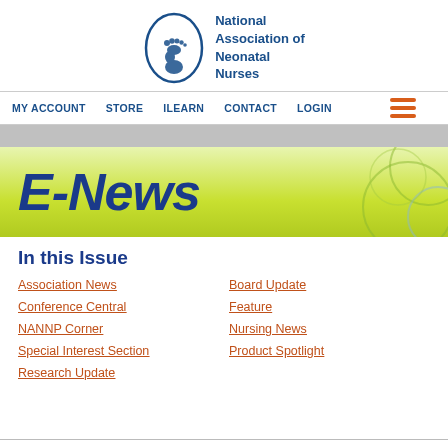[Figure (logo): National Association of Neonatal Nurses logo — blue oval with infant footprint, beside organization name text]
MY ACCOUNT   STORE   ILEARN   CONTACT   LOGIN
[Figure (illustration): E-News banner with yellow-green gradient background, large bold dark blue 'E-News' text, and decorative circles on the right]
In this Issue
Association News
Board Update
Conference Central
Feature
NANNP Corner
Nursing News
Special Interest Section
Product Spotlight
Research Update